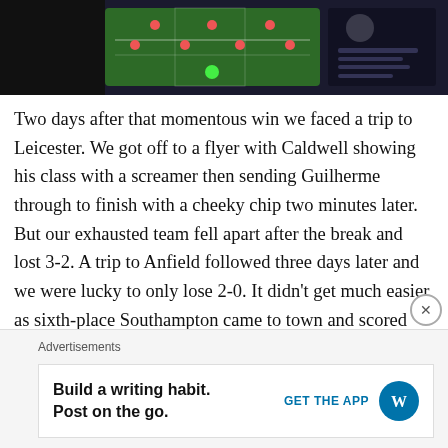[Figure (screenshot): Screenshot of a football/soccer video game showing a green pitch tactical view with player formations and a player profile panel on the right side, on a dark background.]
Two days after that momentous win we faced a trip to Leicester. We got off to a flyer with Caldwell showing his class with a screamer then sending Guilherme through to finish with a cheeky chip two minutes later. But our exhausted team fell apart after the break and lost 3-2. A trip to Anfield followed three days later and we were lucky to only lose 2-0. It didn’t get much easier as sixth-place Southampton came to town and scored inside 10 minutes through Mikel Oyorzabal, but we recovered and Caldwell scored yet again to earn us a deserved point.
Advertisements
Build a writing habit. Post on the go.
GET THE APP